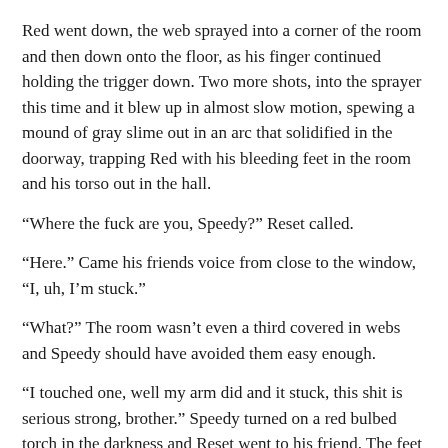Red went down, the web sprayed into a corner of the room and then down onto the floor, as his finger continued holding the trigger down. Two more shots, into the sprayer this time and it blew up in almost slow motion, spewing a mound of gray slime out in an arc that solidified in the doorway, trapping Red with his bleeding feet in the room and his torso out in the hall.
“Where the fuck are you, Speedy?” Reset called.
“Here.” Came his friends voice from close to the window, “I, uh, I’m stuck.”
“What?” The room wasn’t even a third covered in webs and Speedy should have avoided them easy enough.
“I touched one, well my arm did and it stuck, this shit is serious strong, brother.” Speedy turned on a red bulbed torch in the darkness and Reset went to his friend. The feet in the doorway started moving, kicking and struggling. A loud crack sounded from that direction as the bulk of the solidified web broke the door frame.